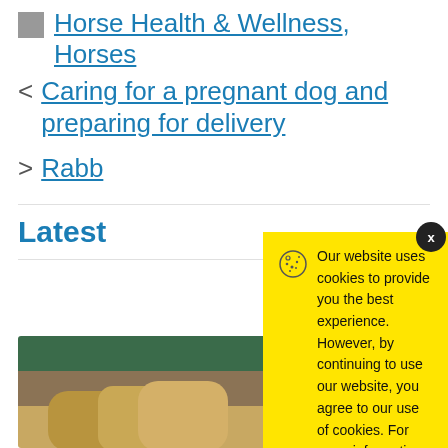Horse Health & Wellness, Horses
< Caring for a pregnant dog and preparing for delivery
> Rabb...
Latest
[Figure (photo): A photo of a cat, partially visible at the bottom of the page]
Our website uses cookies to provide you the best experience. However, by continuing to use our website, you agree to our use of cookies. For more information, read our Cookie Policy.
Accept